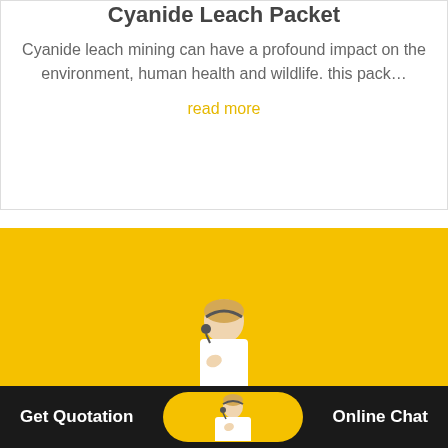Cyanide Leach Packet
Cyanide leach mining can have a profound impact on the environment, human health and wildlife. this pack…
read more
[Figure (photo): Leaching Slideshare — yellow background image with customer service agent figure at bottom center]
Get Quotation   Online Chat